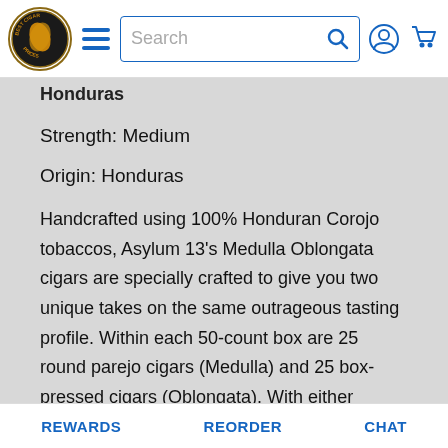[Figure (screenshot): Best Cigar Prices website navigation bar with logo, hamburger menu, search box, user icon, and cart icon]
Honduras
Strength: Medium
Origin: Honduras
Handcrafted using 100% Honduran Corojo tobaccos, Asylum 13's Medulla Oblongata cigars are specially crafted to give you two unique takes on the same outrageous tasting profile. Within each 50-count box are 25 round parejo cigars (Medulla) and 25 box-pressed cigars (Oblongata). With either version, you can count on an opulent smoke that's bursting with bold notes of earth, cocoa, and dark tobacco spice with loads of juicy
REWARDS   REORDER   CHAT